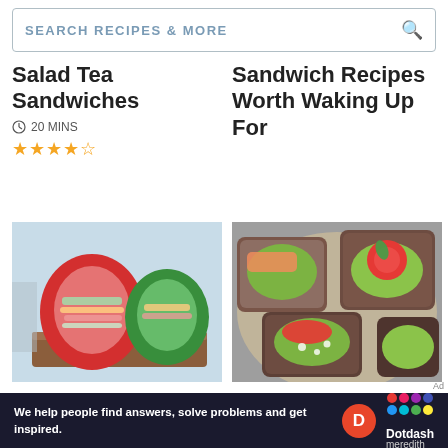SEARCH RECIPES & MORE
Salad Tea Sandwiches
20 MINS
Sandwich Recipes Worth Waking Up For
[Figure (photo): Bell pepper hollowed out and filled with sandwich ingredients on a wooden board]
KETO RECIPES
Bell Pepper Sandwich Recipe
[Figure (photo): Avocado toast variations with tomatoes and other toppings on a plate]
COOKING FOR KIDS
47 Lunch Ideas for Kids at Home or
We help people find answers, solve problems and get inspired.
Dotdash meredith